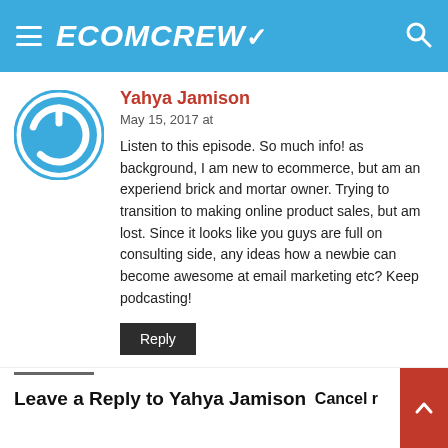ECOMCREW
Yahya Jamison
May 15, 2017 at
Listen to this episode. So much info! as background, I am new to ecommerce, but am an experiend brick and mortar owner. Trying to transition to making online product sales, but am lost. Since it looks like you guys are full on consulting side, any ideas how a newbie can become awesome at email marketing etc? Keep podcasting!
Reply
Leave a Reply to Yahya Jamison
Cancel r